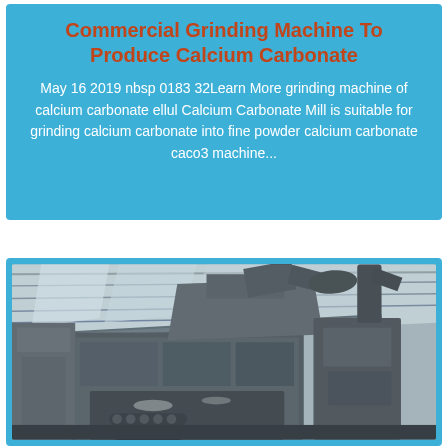Commercial Grinding Machine To Produce Calcium Carbonate
May 16 2019 nbsp 0183 32Learn More grinding machine of calcium carbonate ellul Calcium Carbonate Mill is suitable for grinding calcium carbonate into fine powder calcium carbonate caco3 machine...
[Figure (photo): Industrial grinding machine in a factory setting, showing large heavy machinery with pipes and ducts, photographed in a desaturated/sepia tone inside a warehouse with a corrugated metal roof visible in the background.]